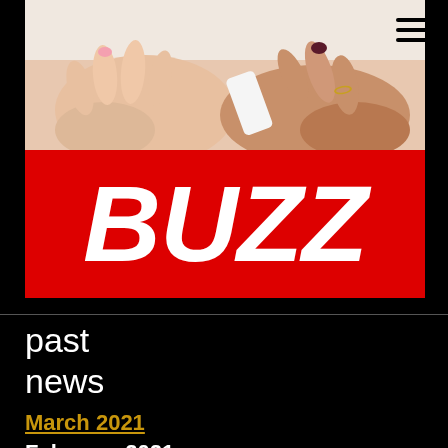[Figure (photo): Photo of hands holding/touching, one with pink nail polish and one with dark burgundy nail polish, on a light background. A red banner below with 'BUZZ' in large white italic bold text overlaid on the photo area.]
past
news
March 2021
February 2021